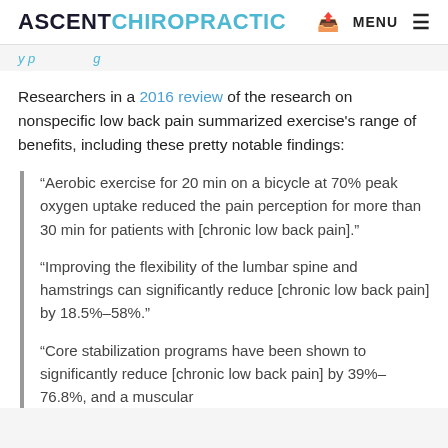ASCENT CHIROPRACTIC
Researchers in a 2016 review of the research on nonspecific low back pain summarized exercise's range of benefits, including these pretty notable findings:
“Aerobic exercise for 20 min on a bicycle at 70% peak oxygen uptake reduced the pain perception for more than 30 min for patients with [chronic low back pain]."
“Improving the flexibility of the lumbar spine and hamstrings can significantly reduce [chronic low back pain] by 18.5%–58%.”
“Core stabilization programs have been shown to significantly reduce [chronic low back pain] by 39%–76.8%, and a muscular